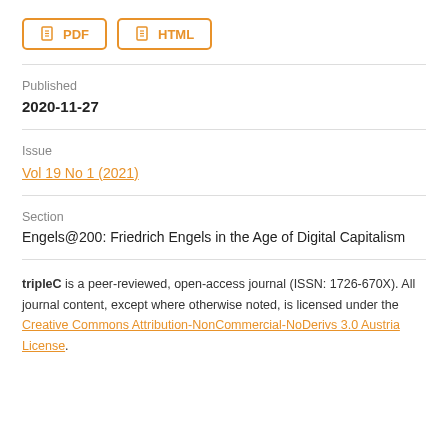[Figure (other): Two buttons labeled PDF and HTML with orange borders and icons]
Published
2020-11-27
Issue
Vol 19 No 1 (2021)
Section
Engels@200: Friedrich Engels in the Age of Digital Capitalism
tripleC is a peer-reviewed, open-access journal (ISSN: 1726-670X). All journal content, except where otherwise noted, is licensed under the Creative Commons Attribution-NonCommercial-NoDerivs 3.0 Austria License.